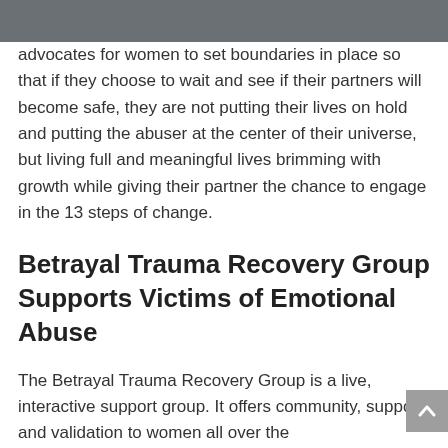advocates for women to set boundaries in place so that if they choose to wait and see if their partners will become safe, they are not putting their lives on hold and putting the abuser at the center of their universe, but living full and meaningful lives brimming with growth while giving their partner the chance to engage in the 13 steps of change.
Betrayal Trauma Recovery Group Supports Victims of Emotional Abuse
The Betrayal Trauma Recovery Group is a live, interactive support group. It offers community, support, and validation to women all over the